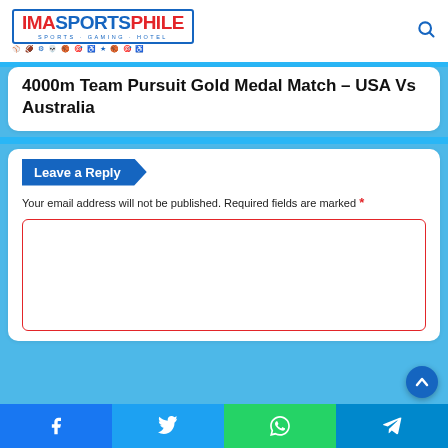[Figure (logo): IMA Sports Phile website logo with red and blue text and sports icons]
4000m Team Pursuit Gold Medal Match – USA Vs Australia
Leave a Reply
Your email address will not be published. Required fields are marked *